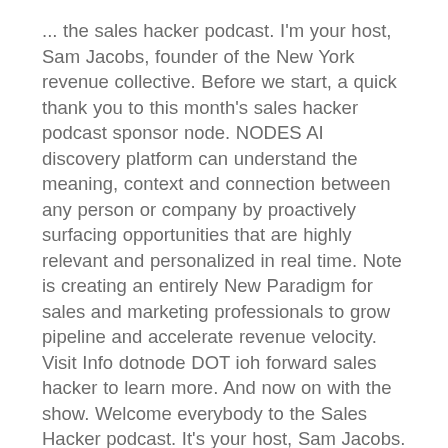... the sales hacker podcast. I'm your host, Sam Jacobs, founder of the New York revenue collective. Before we start, a quick thank you to this month's sales hacker podcast sponsor node. NODES AI discovery platform can understand the meaning, context and connection between any person or company by proactively surfacing opportunities that are highly relevant and personalized in real time. Note is creating an entirely New Paradigm for sales and marketing professionals to grow pipeline and accelerate revenue velocity. Visit Info dotnode DOT ioh forward sales hacker to learn more. And now on with the show. Welcome everybody to the Sales Hacker podcast. It's your host, Sam Jacobs. Today we've got a great show. We've got a Manuel Scala. Emmanuel wellknown in the start up ecosystem. She's been doing this and building businesses for the last eighteen years. She's currently vp of customers success at toast, but she's also served in a number of other client facing functions and revenue generating functions. She led sales and success it to dewelotion. She was also vp of sales at